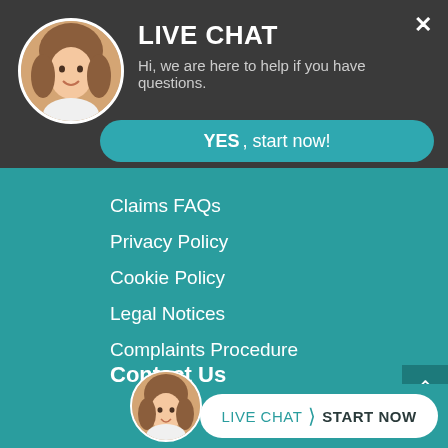[Figure (screenshot): Live chat widget header with avatar photo of a smiling woman, title LIVE CHAT, subtitle text, close button X, and a teal YES start now button]
Claims FAQs
Privacy Policy
Cookie Policy
Legal Notices
Complaints Procedure
Contact Us
Russell Worth Solicitors
Ashleigh Way
Langage Park Office Campus
Plympton
Ply...
[Figure (screenshot): Bottom live chat bar with avatar, LIVE CHAT arrow START NOW button on white rounded pill]